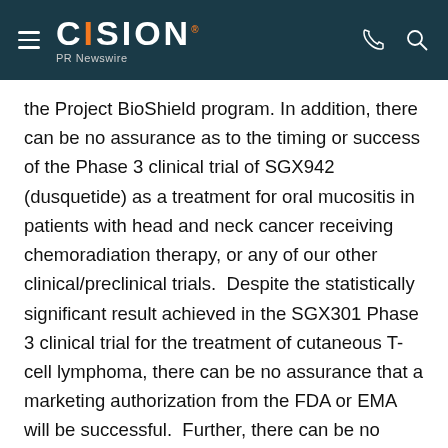CISION PR Newswire
the Project BioShield program. In addition, there can be no assurance as to the timing or success of the Phase 3 clinical trial of SGX942 (dusquetide) as a treatment for oral mucositis in patients with head and neck cancer receiving chemoradiation therapy, or any of our other clinical/preclinical trials.  Despite the statistically significant result achieved in the SGX301 Phase 3 clinical trial for the treatment of cutaneous T-cell lymphoma, there can be no assurance that a marketing authorization from the FDA or EMA will be successful.  Further, there can be no assurance that RiVax® will qualify for a biodefense Priority Review Voucher (PRV) or that the prior sal